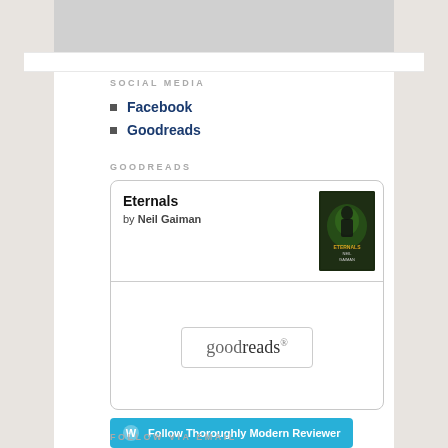[Figure (other): Gray placeholder image at top]
SOCIAL MEDIA
Facebook
Goodreads
GOODREADS
[Figure (other): Goodreads widget showing book 'Eternals' by Neil Gaiman with goodreads button]
[Figure (other): Follow Thoroughly Modern Reviewer button]
FOLLOW VIA EMAIL